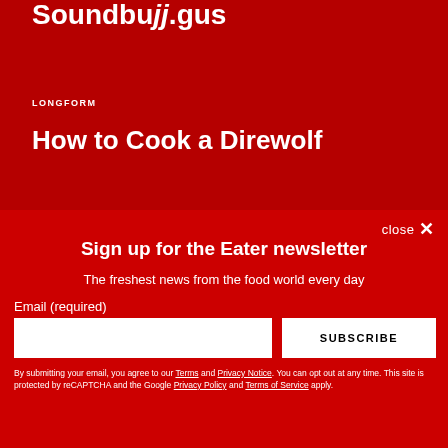Soundbuｪ.gus
LONGFORM
How to Cook a Direwolf
close ✕
Sign up for the Eater newsletter
The freshest news from the food world every day
Email (required)
SUBSCRIBE
By submitting your email, you agree to our Terms and Privacy Notice. You can opt out at any time. This site is protected by reCAPTCHA and the Google Privacy Policy and Terms of Service apply.